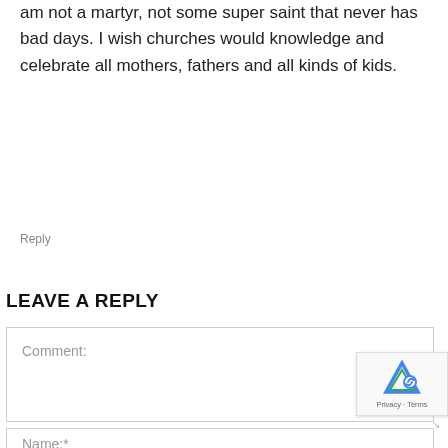am not a martyr, not some super saint that never has bad days. I wish churches would knowledge and celebrate all mothers, fathers and all kinds of kids.
Reply
LEAVE A REPLY
Comment:
Name:*